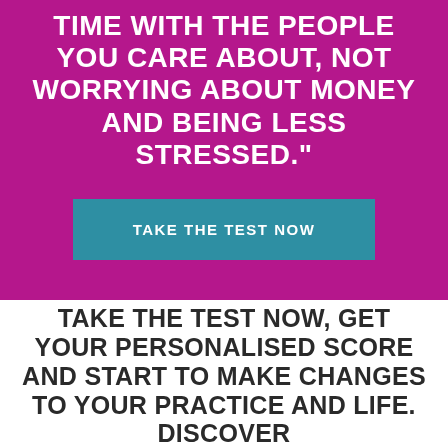TIME WITH THE PEOPLE YOU CARE ABOUT, NOT WORRYING ABOUT MONEY AND BEING LESS STRESSED."
TAKE THE TEST NOW
TAKE THE TEST NOW, GET YOUR PERSONALISED SCORE AND START TO MAKE CHANGES TO YOUR PRACTICE AND LIFE. DISCOVER